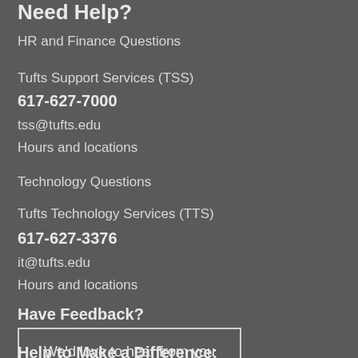Need Help?
HR and Finance Questions
Tufts Support Services (TSS)
617-627-7000
tss@tufts.edu
Hours and locations
Technology Questions
Tufts Technology Services (TTS)
617-627-3376
it@tufts.edu
Hours and locations
Have Feedback?
We'd love to hear from you
Help to Make a Difference: